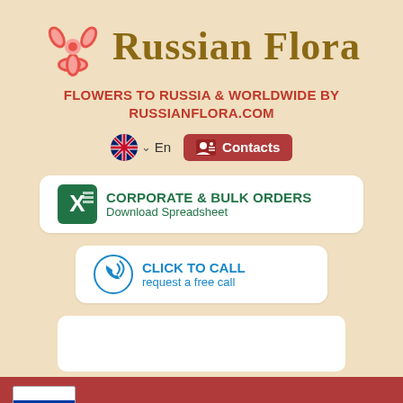[Figure (logo): Russian Flora logo with stylized flower and brand name in gold serif font]
FLOWERS TO RUSSIA & WORLDWIDE BY RUSSIANFLORA.COM
En  Contacts
[Figure (infographic): Corporate & Bulk Orders button with Excel icon - Download Spreadsheet]
[Figure (infographic): Click to Call button with phone icon - request a free call]
[Figure (other): Empty white rectangle placeholder]
Service | Locator | Russia | Ukraine | Belarus | Latvia |